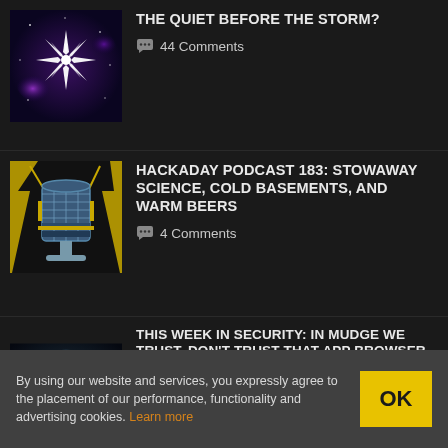[Figure (illustration): Space-themed image with a white starburst/explosion in the center against a purple/blue cosmic background with galaxies]
THE QUIET BEFORE THE STORM?
💬 44 Comments
[Figure (illustration): Retro-style illustrated microphone with yellow circuit/lightning bolt decorations on dark background - Hackaday podcast logo]
HACKADAY PODCAST 183: STOWAWAY SCIENCE, COLD BASEMENTS, AND WARM BEERS
💬 4 Comments
[Figure (illustration): Dark hooded figure with green glowing skull/crossbones mask face - cybersecurity themed illustration]
THIS WEEK IN SECURITY: IN MUDGE WE TRUST, DON'T TRUST THAT APP BROWSER, AND FIREFOX AT PWN2OWN
By using our website and services, you expressly agree to the placement of our performance, functionality and advertising cookies. Learn more